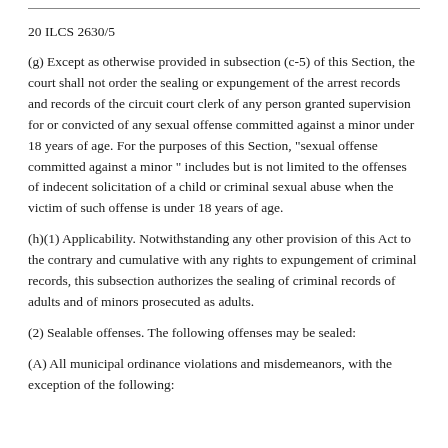20 ILCS 2630/5
(g) Except as otherwise provided in subsection (c-5) of this Section, the court shall not order the sealing or expungement of the arrest records and records of the circuit court clerk of any person granted supervision for or convicted of any sexual offense committed against a minor under 18 years of age. For the purposes of this Section, "sexual offense committed against a minor " includes but is not limited to the offenses of indecent solicitation of a child or criminal sexual abuse when the victim of such offense is under 18 years of age.
(h)(1) Applicability. Notwithstanding any other provision of this Act to the contrary and cumulative with any rights to expungement of criminal records, this subsection authorizes the sealing of criminal records of adults and of minors prosecuted as adults.
(2) Sealable offenses. The following offenses may be sealed:
(A) All municipal ordinance violations and misdemeanors, with the exception of the following: